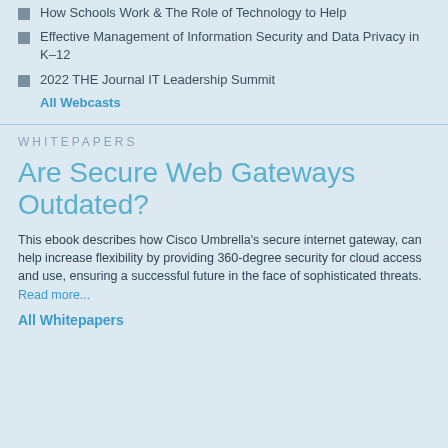How Schools Work & The Role of Technology to Help
Effective Management of Information Security and Data Privacy in K–12
2022 THE Journal IT Leadership Summit
All Webcasts
WHITEPAPERS
Are Secure Web Gateways Outdated?
This ebook describes how Cisco Umbrella's secure internet gateway, can help increase flexibility by providing 360-degree security for cloud access and use, ensuring a successful future in the face of sophisticated threats.
Read more...
All Whitepapers